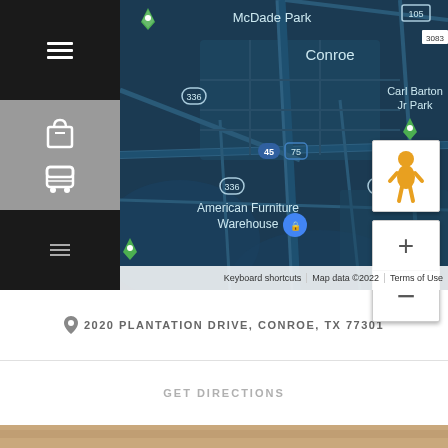[Figure (map): Google Maps screenshot showing Conroe, TX area with American Furniture Warehouse location pinned. Streets include route 336, 45, 75, 105, 3083. Areas labeled include McDade Park, Conroe, Carl Barton Jr Park. Map has sidebar with hamburger menu, shopping bag icon, transit icon. Zoom controls and pegman visible. Google logo bottom left. Map data ©2022 attribution bar at bottom.]
2020 PLANTATION DRIVE, CONROE, TX 77301
GET DIRECTIONS